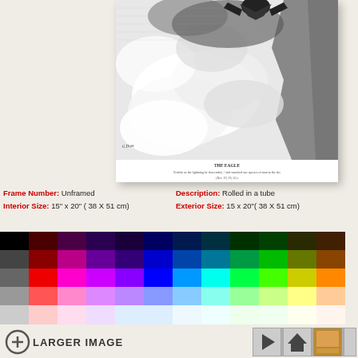[Figure (illustration): Black and white engraving showing 'THE EAGLE' - dramatic scene with clouds, rocky cliffs, and an eagle descending, with caption text below: 'THE EAGLE / Terrible as the lightning he descended, / And snatched one species of man to the fire / (Rev. 19, 29, 20).']
Frame Number: Unframed   Description: Rolled in a tube
Interior Size: 15" x 20" ( 38 X 51 cm)   Exterior Size: 15 x 20"( 38 X 51 cm)
[Figure (other): Color palette grid with multiple rows of color swatches ranging from dark/black through various saturated colors to light/white]
+ LARGER IMAGE
[Figure (other): Navigation icons: play button, home icon, thumbnail image, and partial fourth icon]